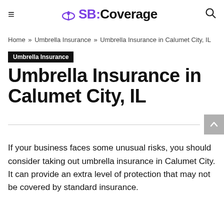SB:Coverage
Home » Umbrella Insurance » Umbrella Insurance in Calumet City, IL
Umbrella Insurance
Umbrella Insurance in Calumet City, IL
If your business faces some unusual risks, you should consider taking out umbrella insurance in Calumet City. It can provide an extra level of protection that may not be covered by standard insurance.